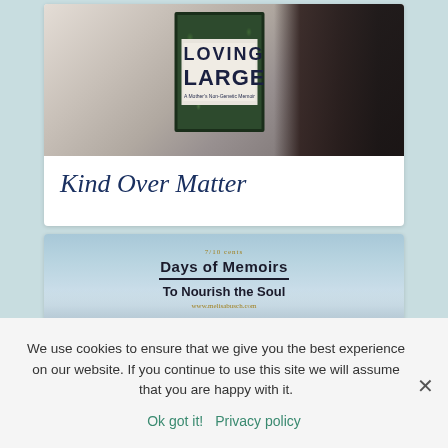[Figure (photo): Photo of a person in black clothing holding a book titled 'Loving Large' with a dark green cover and leaf pattern, with a white overlay card below showing the text 'Kind Over Matter']
Kind Over Matter
[Figure (photo): Blog/website banner with light blue sky and water background reading '7/10 Cents' at top, 'Days of Memoirs' in bold, a horizontal rule, 'To Nourish the Soul', and 'www.melisabusch.com' at bottom]
We use cookies to ensure that we give you the best experience on our website. If you continue to use this site we will assume that you are happy with it.
Ok got it!   Privacy policy